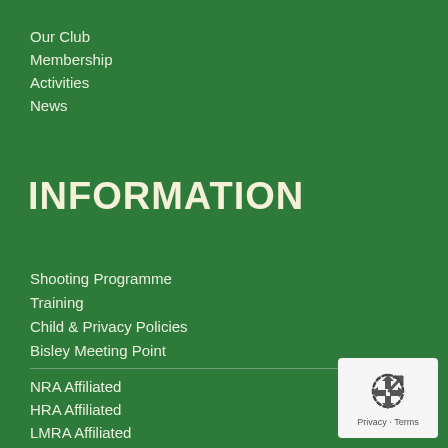Our Club
Membership
Activities
News
INFORMATION
Shooting Programme
Training
Child & Privacy Policies
Bisley Meeting Point
NRA Affiliated
HRA Affiliated
LMRA Affiliated
Home Office Approved
[Figure (logo): Google reCAPTCHA / Privacy badge with recycling-style arrow icon, labeled Privacy · Terms]